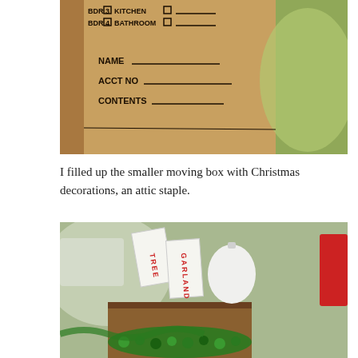[Figure (photo): Close-up photo of a cardboard moving box label showing fields: BDR 3, BDR 4 checkboxes, KITCHEN, BATHROOM checkboxes with blank lines, and fields NAME, ACCT NO, CONTENTS each with a blank line]
I filled up the smaller moving box with Christmas decorations, an attic staple.
[Figure (photo): Photo of a cardboard box filled with Christmas decorations including white ornament, cards labeled TREE and GARLAND in red text, a pink ornament, a red object, and green beaded garland]